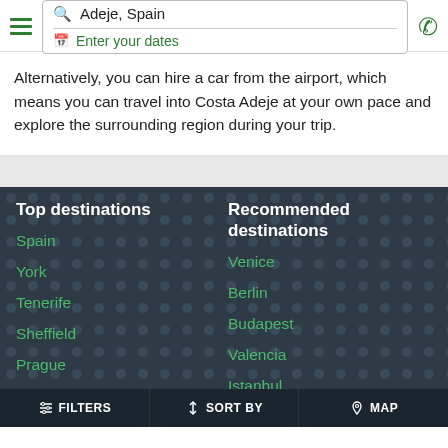[Figure (screenshot): Navigation header with hamburger menu, search box showing 'Adeje, Spain', date entry field, and phone icon]
Alternatively, you can hire a car from the airport, which means you can travel into Costa Adeje at your own pace and explore the surrounding region during your trip.
Top destinations
Spain
York
Tenerife
Sheffield
Prague
Paris
Recommended destinations
Venice
Berlin
Budapest
Valencia
Istanbul
FILTERS   SORT BY   MAP